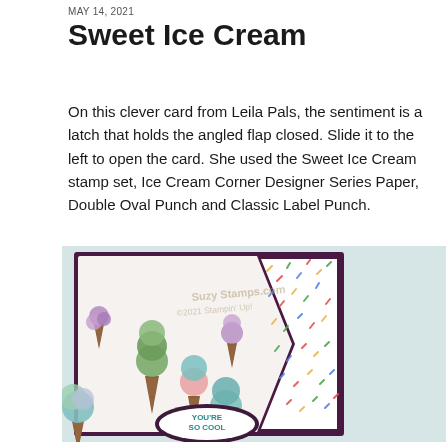MAY 14, 2021
Sweet Ice Cream
On this clever card from Leila Pals, the sentiment is a latch that holds the angled flap closed. Slide it to the left to open the card. She used the Sweet Ice Cream stamp set, Ice Cream Corner Designer Series Paper, Double Oval Punch and Classic Label Punch.
[Figure (photo): A handmade card featuring Sweet Ice Cream stamp set with colorful ice cream cones on white background, angled flap with colorful sprinkles designer paper on right side, and 'YOU'RE SO COOL' sentiment label at bottom.]